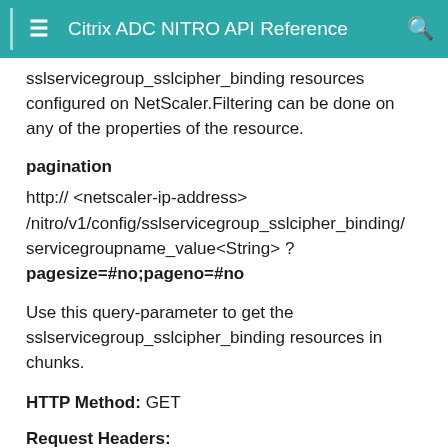Citrix ADC NITRO API Reference
sslservicegroup_sslcipher_binding resources configured on NetScaler.Filtering can be done on any of the properties of the resource.
pagination
http:// <netscaler-ip-address> /nitro/v1/config/sslservicegroup_sslcipher_binding/ servicegroupname_value<String> ? pagesize=#no;pageno=#no
Use this query-parameter to get the sslservicegroup_sslcipher_binding resources in chunks.
HTTP Method: GET
Request Headers: